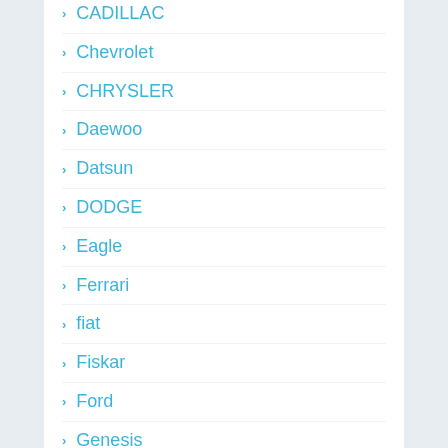CADILLAC
Chevrolet
CHRYSLER
Daewoo
Datsun
DODGE
Eagle
Ferrari
fiat
Fiskar
Ford
Genesis
Geo
GMC